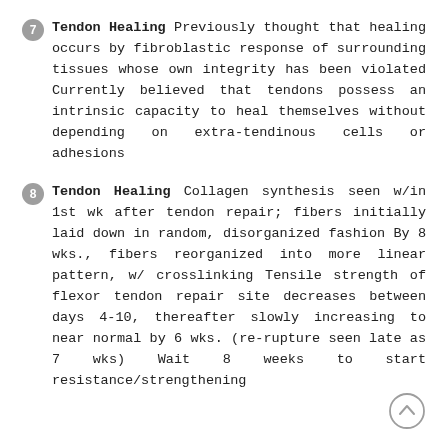7 Tendon Healing Previously thought that healing occurs by fibroblastic response of surrounding tissues whose own integrity has been violated Currently believed that tendons possess an intrinsic capacity to heal themselves without depending on extra-tendinous cells or adhesions
8 Tendon Healing Collagen synthesis seen w/in 1st wk after tendon repair; fibers initially laid down in random, disorganized fashion By 8 wks., fibers reorganized into more linear pattern, w/ crosslinking Tensile strength of flexor tendon repair site decreases between days 4-10, thereafter slowly increasing to near normal by 6 wks. (re-rupture seen late as 7 wks) Wait 8 weeks to start resistance/strengthening